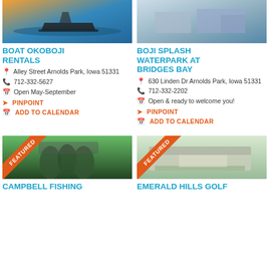[Figure (photo): Boat on water at sunset - Boat Okoboji Rentals]
BOAT OKOBOJI RENTALS
Alley Street Arnolds Park, Iowa 51331
712-332-5627
Open May-September
PINPOINT
ADD TO CALENDAR
[Figure (photo): Aerial view of Boji Splash Waterpark at Bridges Bay]
BOJI SPLASH WATERPARK AT BRIDGES BAY
630 Linden Dr Arnolds Park, Iowa 51331
712-332-2202
Open & ready to welcome you!
PINPOINT
ADD TO CALENDAR
[Figure (photo): Person holding large fish - Campbell Fishing, featured]
[Figure (photo): Golf clubhouse exterior - Emerald Hills Golf, featured]
CAMPBELL FISHING
EMERALD HILLS GOLF